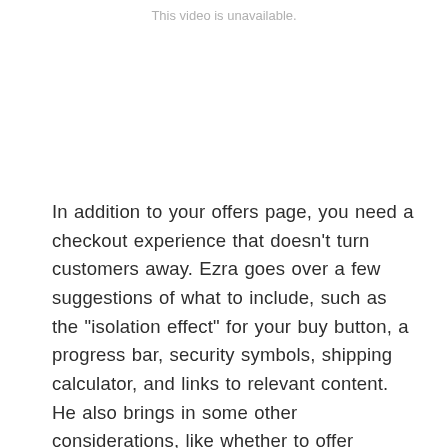This video is unavailable.
In addition to your offers page, you need a checkout experience that doesn’t turn customers away. Ezra goes over a few suggestions of what to include, such as the “isolation effect” for your buy button, a progress bar, security symbols, shipping calculator, and links to relevant content. He also brings in some other considerations, like whether to offer customer accounts for repeat customers.